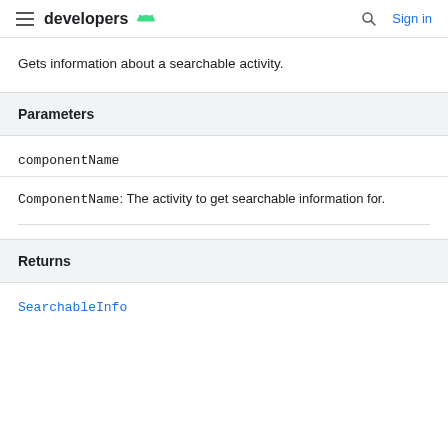developers  [android logo]  [search icon]  Sign in
Gets information about a searchable activity.
Parameters
componentName
ComponentName: The activity to get searchable information for.
Returns
SearchableInfo